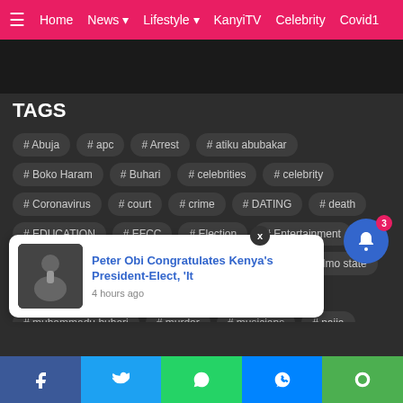Home  News  Lifestyle  KanyiTV  Celebrity  Covid1
TAGS
# Abuja
# apc
# Arrest
# atiku abubakar
# Boko Haram
# Buhari
# celebrities
# celebrity
# Coronavirus
# court
# crime
# DATING
# death
# EDUCATION
# EFCC
# Election
# Entertainment
# federal government
# gist
# HOLLYWOOD
# Imo state
# issues
# Lagos State
# marriage
# METRO
# muhammadu buhari
# murder
# musicians
# naija
# News
# Nigeria
[Figure (screenshot): Notification popup: Peter Obi Congratulates Kenya's President-Elect, 'It — 4 hours ago, with thumbnail image of person speaking]
Facebook  Twitter  WhatsApp  Messenger